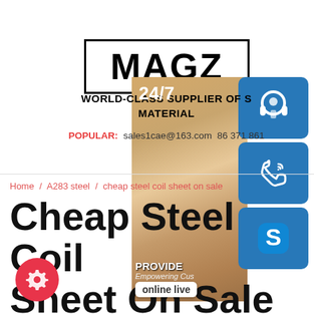[Figure (logo): MAGZ logo in black bordered rectangle]
[Figure (infographic): 24/7 customer service panel with blue background, customer service person photo, phone/skype/headset icons, 'PROVIDE Empowering Cus' text, and 'online live' button]
WORLD-CLASS SUPPLIER OF S MATERIAL
POPULAR: sales1cae@163.com  86 371 861
Home / A283 steel / cheap steel coil sheet on sale
Cheap Steel Coil Sheet On Sale